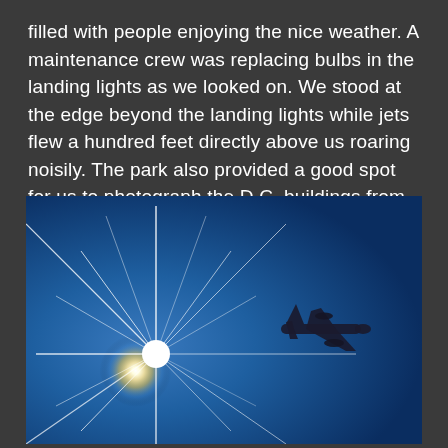filled with people enjoying the nice weather. A maintenance crew was replacing bulbs in the landing lights as we looked on. We stood at the edge beyond the landing lights while jets flew a hundred feet directly above us roaring noisily. The park also provided a good spot for us to photograph the D.C. buildings from across the river.
[Figure (photo): Photo of a bright sunburst starburst in a deep blue sky with the silhouette of a jet airplane flying to the right of the sun.]